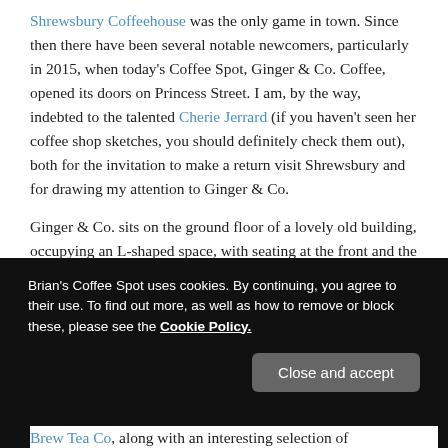Shrewsbury Coffeehouse was the only game in town. Since then there have been several notable newcomers, particularly in 2015, when today's Coffee Spot, Ginger & Co. Coffee, opened its doors on Princess Street. I am, by the way, indebted to the talented Cherie Jerrard (if you haven't seen her coffee shop sketches, you should definitely check them out), both for the invitation to make a return visit Shrewsbury and for drawing my attention to Ginger & Co.
Ginger & Co. sits on the ground floor of a lovely old building, occupying an L-shaped space, with seating at the front and the counter along the top part of the L.
[Figure (screenshot): Dark cookie consent banner overlay with text and Close and accept button]
Brew Tea Co, along with an interesting selection of